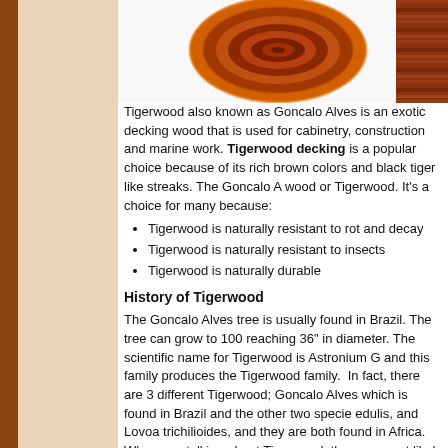[Figure (photo): Cross-section of Tigerwood showing orange and dark brown rings, and a plank of tigerwood on the right]
Tigerwood also known as Goncalo Alves is an exotic decking wood that is used for cabinetry, construction and marine work. Tigerwood decking is a popular choice because of its rich brown colors and black tiger like streaks. The Goncalo Alves wood or Tigerwood. It's a choice for many because:
Tigerwood is naturally resistant to rot and decay
Tigerwood is naturally resistant to insects
Tigerwood is naturally durable
History of Tigerwood
The Goncalo Alves tree is usually found in Brazil. The tree can grow to 100 feet reaching 36" in diameter. The scientific name for Tigerwood is Astronium G and this family produces the Tigerwood family. In fact, there are 3 different Tigerwood; Goncalo Alves which is found in Brazil and the other two species edulis, and Lovoa trichilioides, and they are both found in Africa. When you talking about Tigerwood, they are most likely referring to the Goncalo Alves wood found in Brazil. The Astronium Graveloens trees were known to produce source of honey and provide medicinal purposes for the native people of the Amazon. Today, Tigerwood decking is used for creating decks, hardwood f more.
Why Tigerwood for decking?
If you don't want to rebuild your deck due to decay, rot, mold or corrosion,